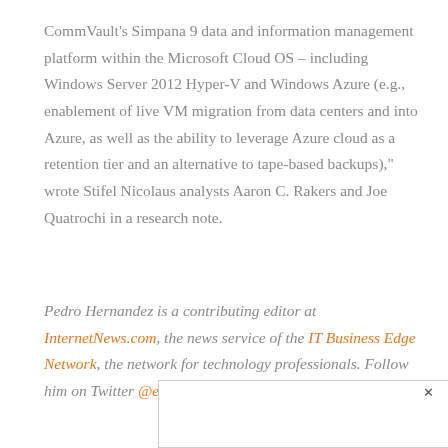CommVault's Simpana 9 data and information management platform within the Microsoft Cloud OS – including Windows Server 2012 Hyper-V and Windows Azure (e.g., enablement of live VM migration from data centers and into Azure, as well as the ability to leverage Azure cloud as a retention tier and an alternative to tape-based backups)," wrote Stifel Nicolaus analysts Aaron C. Rakers and Joe Quatrochi in a research note.
Pedro Hernandez is a contributing editor at InternetNews.com, the news service of the IT Business Edge Network, the network for technology professionals. Follow him on Twitter @ecoINSITE.